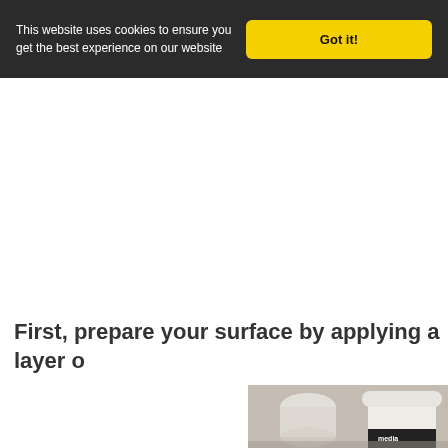This website uses cookies to ensure you get the best experience on our website
Got it!
First, prepare your surface by applying a layer o
[Figure (photo): A jar of media product with a white cloth or paper roll beside it on a surface, partially cropped on the right side of the page.]